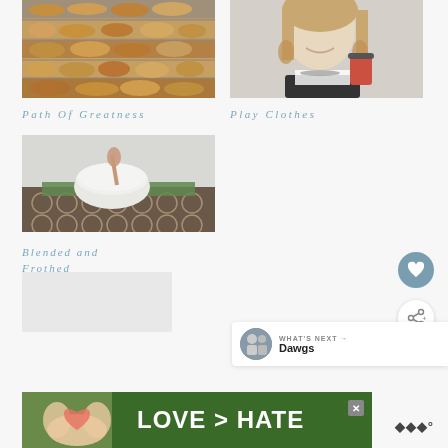[Figure (photo): Bakery shelves filled with bread and pastries]
[Figure (photo): Young woman holding a red coffee cup]
Path Of Greatness
Play Clothes
[Figure (photo): White ceramic bowl on a patterned tablecloth]
Blended and Frothed
[Figure (photo): Two people standing outdoors - What's Next preview thumbnail]
WHAT'S NEXT → Dawgs
[Figure (photo): Advertisement banner: LOVE > HATE with hands forming a heart shape]
LOVE > HATE